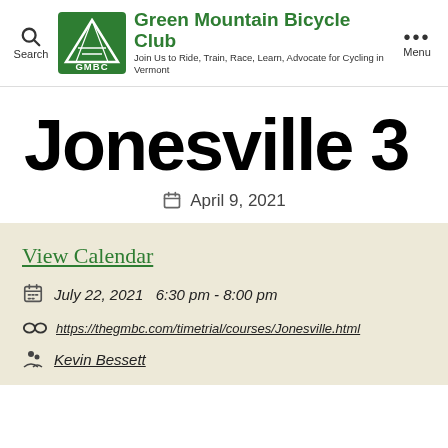Green Mountain Bicycle Club — Join Us to Ride, Train, Race, Learn, Advocate for Cycling in Vermont
Jonesville 3
April 9, 2021
View Calendar
July 22, 2021   6:30 pm - 8:00 pm
https://thegmbc.com/timetrial/courses/Jonesville.html
Kevin Bessett